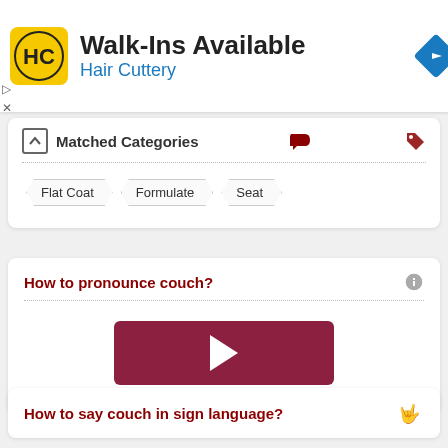[Figure (screenshot): Hair Cuttery advertisement banner with logo, 'Walk-Ins Available' title, and navigation icon]
Matched Categories
Flat Coat
Formulate
Seat
How to pronounce couch?
[Figure (other): Play button for audio pronunciation]
How to say couch in sign language?